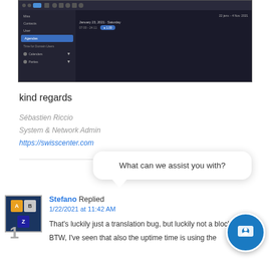[Figure (screenshot): Dark-themed web application UI screenshot showing a sidebar navigation and main content area with date range 22 janv. - 4 Nov. 2021]
kind regards
Sébastien Riccio
System & Network Admin
https://swisscenter.com
[Figure (infographic): Chat bubble overlay saying 'What can we assist you with?']
Stefano Replied
1/22/2021 at 11:42 AM
That's luckily just a translation bug, but luckily not a blocking one :)
BTW, I've seen that also the uptime time is using the